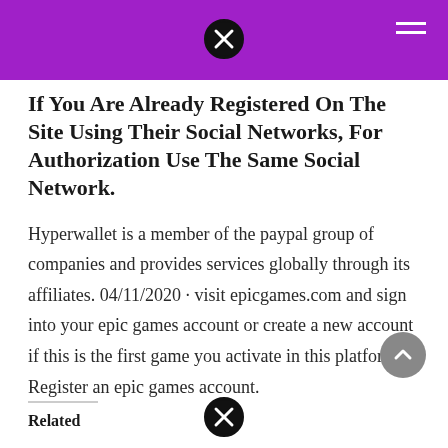If You Are Already Registered On The Site Using Their Social Networks, For Authorization Use The Same Social Network.
Hyperwallet is a member of the paypal group of companies and provides services globally through its affiliates. 04/11/2020 · visit epicgames.com and sign into your epic games account or create a new account if this is the first game you activate in this platform. Register an epic games account.
Related